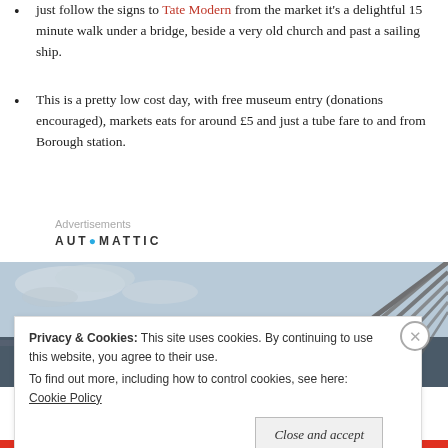just follow the signs to Tate Modern from the market it's a delightful 15 minute walk under a bridge, beside a very old church and past a sailing ship.
This is a pretty low cost day, with free museum entry (donations encouraged), markets eats for around £5 and just a tube fare to and from Borough station.
Advertisements
AUTOMATTIC
[Figure (photo): Photo of a bridge with diagonal steel rails against a cloudy sky, with two silhouetted figures visible on the right side.]
Privacy & Cookies: This site uses cookies. By continuing to use this website, you agree to their use. To find out more, including how to control cookies, see here: Cookie Policy
Close and accept